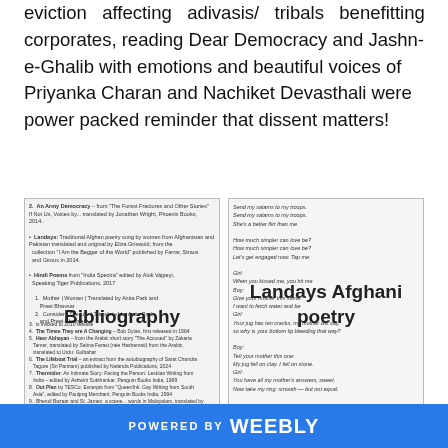eviction affecting adivasis/ tribals benefitting corporates, reading Dear Democracy and Jashn-e-Ghalib with emotions and beautiful voices of Priyanka Charan and Nachiket Devasthali were power packed reminder that dissent matters!
[Figure (photo): Photo of a bibliography page with text listing sources, overlaid with the label 'Bibliography']
[Figure (photo): Photo of a page with Landays Afghani poetry text, overlaid with the label 'Landays Afghani poetry']
POWERED BY weebly